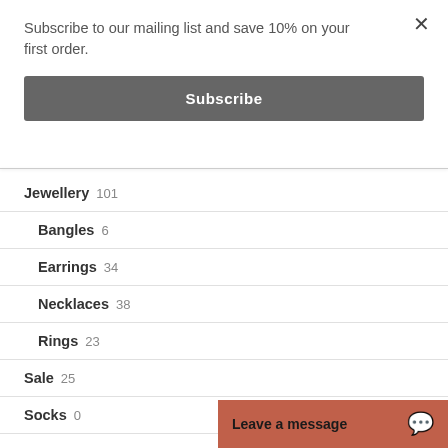Subscribe to our mailing list and save 10% on your first order.
Subscribe
Jewellery 101
Bangles 6
Earrings 34
Necklaces 38
Rings 23
Sale 25
Socks 0
Leave a message